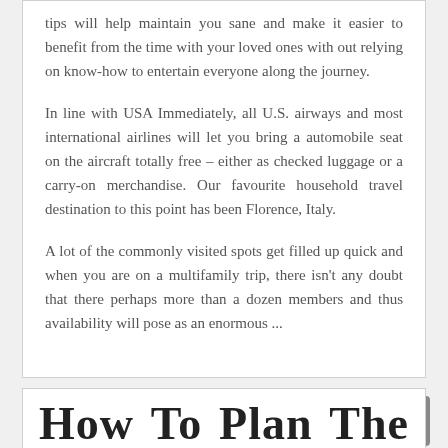tips will help maintain you sane and make it easier to benefit from the time with your loved ones with out relying on know-how to entertain everyone along the journey.
In line with USA Immediately, all U.S. airways and most international airlines will let you bring a automobile seat on the aircraft totally free – either as checked luggage or a carry-on merchandise. Our favourite household travel destination to this point has been Florence, Italy.
A lot of the commonly visited spots get filled up quick and when you are on a multifamily trip, there isn't any doubt that there perhaps more than a dozen members and thus availability will pose as an enormous ...
How To Plan The